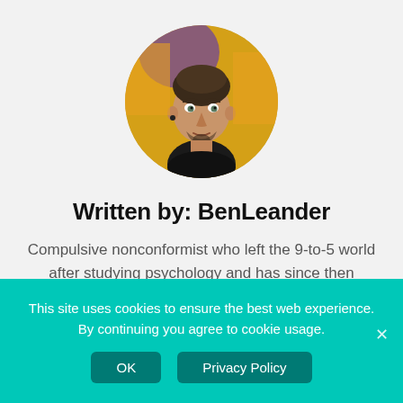[Figure (photo): Circular profile photo of BenLeander, a young man with short hair and beard against a yellow background]
Written by: BenLeander
Compulsive nonconformist who left the 9-to-5 world after studying psychology and has since then devoted himself to design and writing on
This site uses cookies to ensure the best web experience. By continuing you agree to cookie usage.